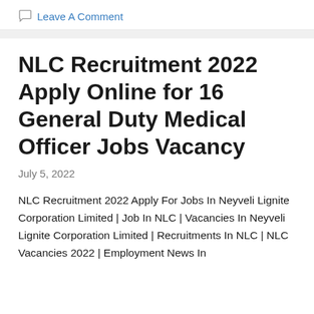Leave A Comment
NLC Recruitment 2022 Apply Online for 16 General Duty Medical Officer Jobs Vacancy
July 5, 2022
NLC Recruitment 2022 Apply For Jobs In Neyveli Lignite Corporation Limited | Job In NLC | Vacancies In Neyveli Lignite Corporation Limited | Recruitments In NLC | NLC Vacancies 2022 | Employment News In